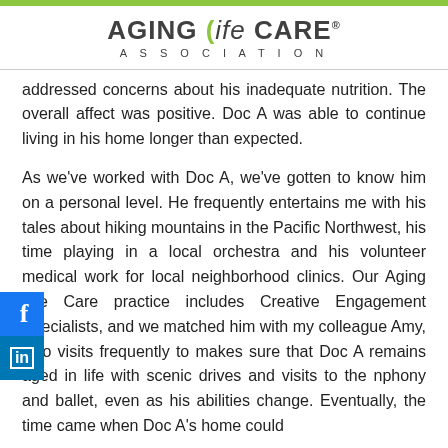AGING (ife CARE ASSOCIATION
addressed concerns about his inadequate nutrition. The overall affect was positive. Doc A was able to continue living in his home longer than expected.
As we've worked with Doc A, we've gotten to know him on a personal level. He frequently entertains me with his tales about hiking mountains in the Pacific Northwest, his time playing in a local orchestra and his volunteer medical work for local neighborhood clinics. Our Aging Life Care practice includes Creative Engagement Specialists, and we matched him with my colleague Amy, who visits frequently to makes sure that Doc A remains aged in life with scenic drives and visits to the nphony and ballet, even as his abilities change. Eventually, the time came when Doc A's home could